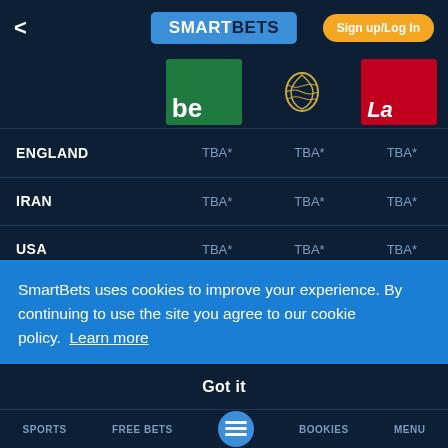SmartBets – Sign up/Log In
[Figure (screenshot): Bookmaker logo icons: bet365 (green), gold emblem (dark background), Ladbrokes (red)]
|  | be* | (gold logo) | La* |
| --- | --- | --- | --- |
| ENGLAND | TBA* | TBA* | TBA* |
| IRAN | TBA* | TBA* | TBA* |
| USA | TBA* | TBA* | TBA* |
| WALES | TBA* | TBA* | TBA* |
*Odds are correct at the time of publishing and are subject to change
SmartBets uses cookies to improve your experience. By continuing to use the site you agree to our cookie policy.  Learn more
Got it
SPORTS  FREE BETS  BOOKIES  MENU